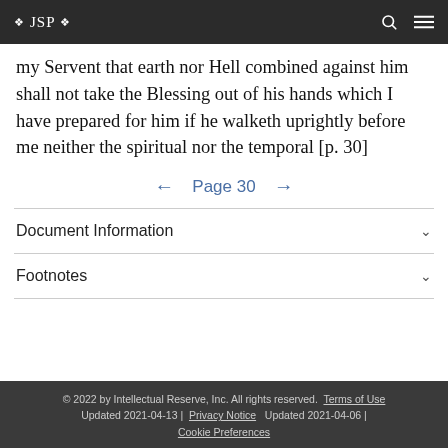❖ JSP ❖
my Servent that earth nor Hell combined against him shall not take the Blessing out of his hands which I have prepared for him if he walketh uprightly before me neither the spiritual nor the temporal [p. 30]
← Page 30 →
Document Information
Footnotes
© 2022 by Intellectual Reserve, Inc. All rights reserved. Terms of Use Updated 2021-04-13 | Privacy Notice Updated 2021-04-06 | Cookie Preferences